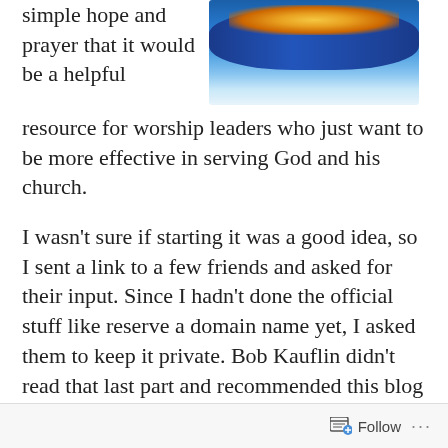simple hope and prayer that it would be a helpful resource for worship leaders who just want to be more effective in serving God and his church.
[Figure (photo): Photo of a decorated cake or floral arrangement with blue frosting/flowers and colorful decorations on white background]
I wasn’t sure if starting it was a good idea, so I sent a link to a few friends and asked for their input. Since I hadn’t done the official stuff like reserve a domain name yet, I asked them to keep it private. Bob Kauflin didn’t read that last part and recommended this blog via his Twitter and Facebook feeds. I wasn’t expecting that!
Follow ...